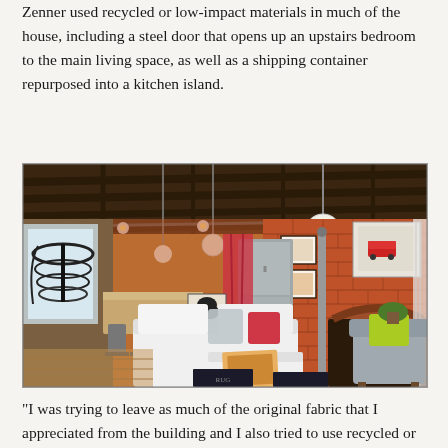Zenner used recycled or low-impact materials in much of the house, including a steel door that opens up an upstairs bedroom to the main living space, as well as a shipping container repurposed into a kitchen island.
[Figure (photo): Interior of a loft-style living space with exposed brick walls, wooden beam ceiling with track lighting, a white sofa with colorful pillows, a floor lamp, a fireplace, a gray armchair with a yellow-green pillow, spiral staircase on the left, and kitchen visible in the background.]
“I was trying to leave as much of the original fabric that I appreciated from the building and I also tried to use recycled or reused materials wherever possible,” he said. “The floors were reclaimed hardwood…”